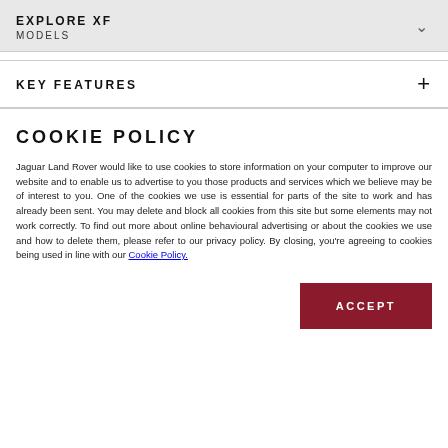EXPLORE XF
MODELS
KEY FEATURES
COOKIE POLICY
Jaguar Land Rover would like to use cookies to store information on your computer to improve our website and to enable us to advertise to you those products and services which we believe may be of interest to you. One of the cookies we use is essential for parts of the site to work and has already been sent. You may delete and block all cookies from this site but some elements may not work correctly. To find out more about online behavioural advertising or about the cookies we use and how to delete them, please refer to our privacy policy. By closing, you're agreeing to cookies being used in line with our Cookie Policy.
ACCEPT